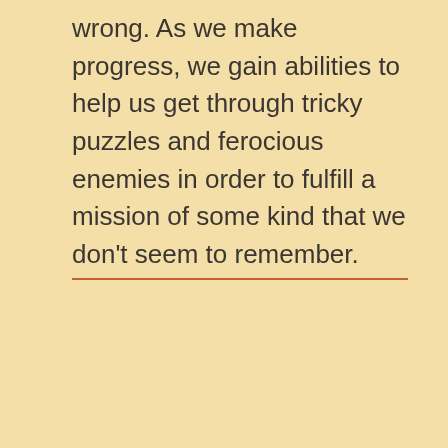wrong. As we make progress, we gain abilities to help us get through tricky puzzles and ferocious enemies in order to fulfill a mission of some kind that we don't seem to remember.